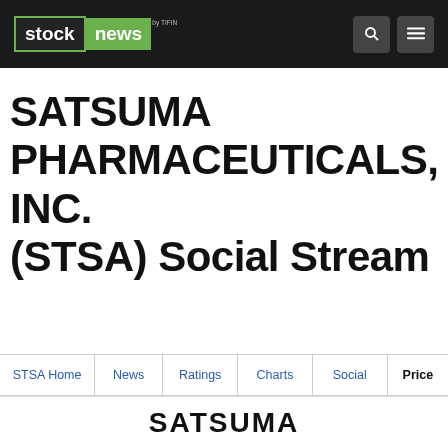stock news by TIFIN
SATSUMA PHARMACEUTICALS, INC. (STSA) Social Stream
STSA Home | News | Ratings | Charts | Social | Price
SATSUMA